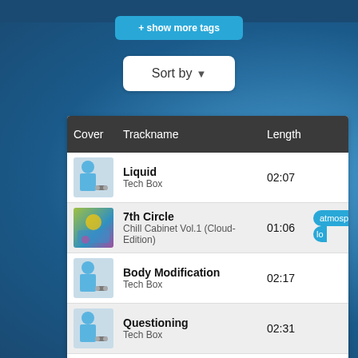+ show more tags
Sort by ▼
| Cover | Trackname | Length |
| --- | --- | --- |
| [img] | Liquid
Tech Box | 02:07 |
| [img] | 7th Circle
Chill Cabinet Vol.1 (Cloud-Edition) | 01:06 |
| [img] | Body Modification
Tech Box | 02:17 |
| [img] | Questioning
Tech Box | 02:31 |
| [img] | Viral Phenomena
Tech Box | 02:40 |
| [img] | Plot Hole
... | 02:56 |